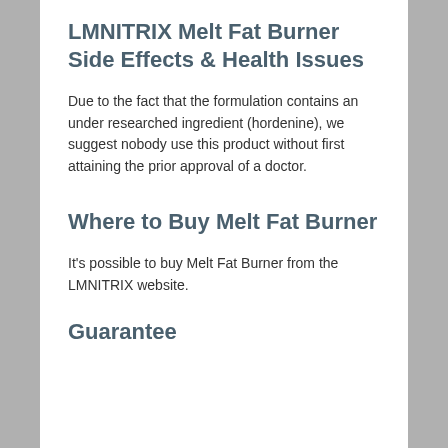LMNITRIX Melt Fat Burner Side Effects & Health Issues
Due to the fact that the formulation contains an under researched ingredient (hordenine), we suggest nobody use this product without first attaining the prior approval of a doctor.
Where to Buy Melt Fat Burner
It's possible to buy Melt Fat Burner from the LMNITRIX website.
Guarantee